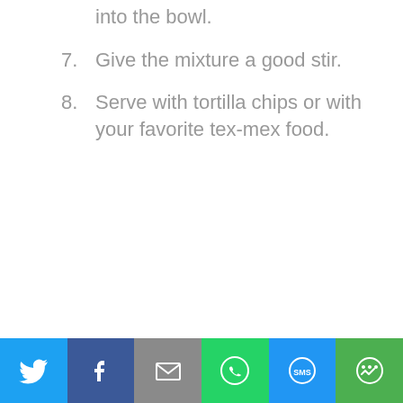Then, chop a handful of your fresh cilantro and add it into the bowl.
7. Give the mixture a good stir.
8. Serve with tortilla chips or with your favorite tex-mex food.
[Figure (infographic): Social sharing bar with six buttons: Twitter (blue), Facebook (dark blue), Email (gray), WhatsApp (green), SMS (light blue), More (green)]